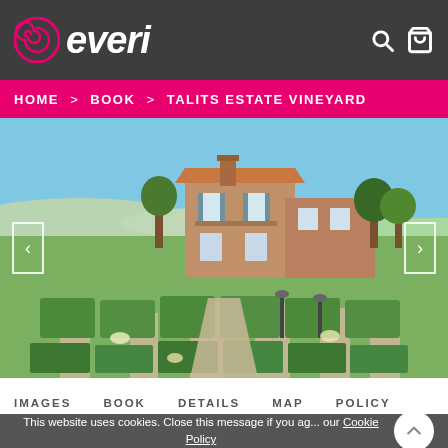everi — HOME > BOOK > TALITS ESTATE VINEYARD
[Figure (photo): Aerial/elevated view of a Provençal-style stone farmhouse with formal gardens, hedged paths, and trees under a blue sky — Talits Estate Vineyard]
IMAGES   BOOK   DETAILS   MAP   POLICY
This website uses cookies. Close this message if you agree to our Cookie Policy